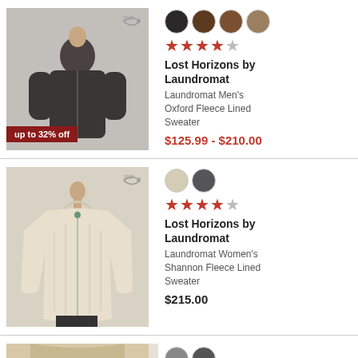[Figure (photo): Man wearing dark charcoal zip-up fleece-lined sweater, with 360° view icon, and 'up to 32% off' badge]
[Figure (other): Four color swatches for men's sweater: black, dark brown, medium brown, tan/khaki]
★★★★☆ (4.5 stars)
Lost Horizons by Laundromat
Laundromat Men's Oxford Fleece Lined Sweater
$125.99 - $210.00
[Figure (photo): Woman wearing cream/oatmeal zip-up hooded knit sweater, with 360° view icon]
[Figure (other): Two color swatches for women's sweater: oatmeal/cream and charcoal grey]
★★★★☆ (4.5 stars)
Lost Horizons by Laundromat
Laundromat Women's Shannon Fleece Lined Sweater
$215.00
[Figure (photo): Partial view of third product - bottom of image visible]
[Figure (other): Two color swatches for third product visible at bottom]